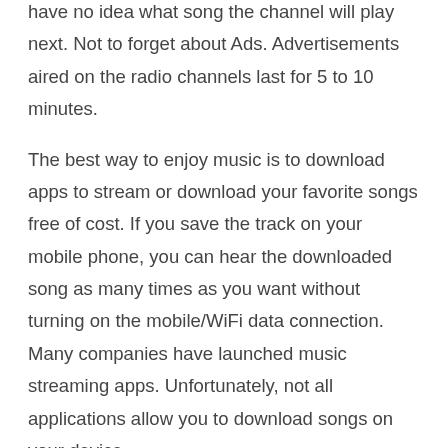have no idea what song the channel will play next. Not to forget about Ads. Advertisements aired on the radio channels last for 5 to 10 minutes.
The best way to enjoy music is to download apps to stream or download your favorite songs free of cost. If you save the track on your mobile phone, you can hear the downloaded song as many times as you want without turning on the mobile/WiFi data connection. Many companies have launched music streaming apps. Unfortunately, not all applications allow you to download songs on your device.
Below, I've shared four great applications that allow users to listen/download songs on their mobile devices: